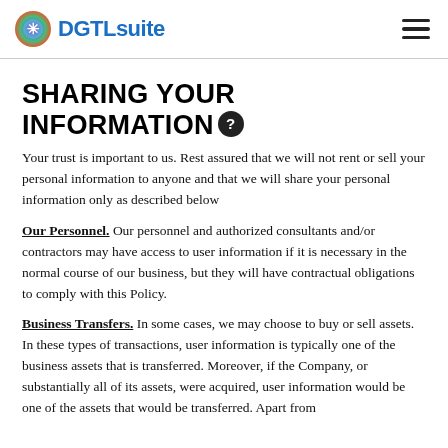DGTLsuite
SHARING YOUR INFORMATION
Your trust is important to us. Rest assured that we will not rent or sell your personal information to anyone and that we will share your personal information only as described below
Our Personnel. Our personnel and authorized consultants and/or contractors may have access to user information if it is necessary in the normal course of our business, but they will have contractual obligations to comply with this Policy.
Business Transfers. In some cases, we may choose to buy or sell assets. In these types of transactions, user information is typically one of the business assets that is transferred. Moreover, if the Company, or substantially all of its assets, were acquired, user information would be one of the assets that would be transferred. Apart from...